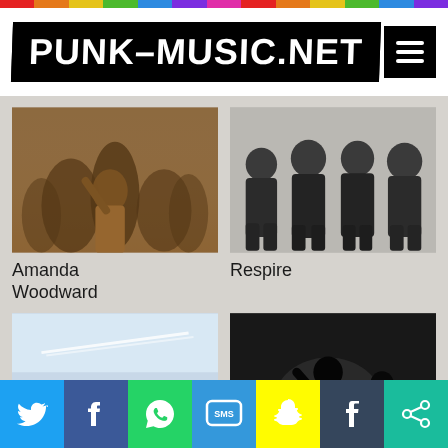PUNK-MUSIC.NET
[Figure (photo): Sepia-toned photo of Amanda Woodward band performing live indoors]
Amanda Woodward
[Figure (photo): Black and white photo of Respire band members standing in a line outdoors]
Respire
[Figure (photo): Photo of Chalk Hands band members standing outdoors under sky with contrail]
Chalk Hands
[Figure (photo): Dark black and white live concert photo for Young Mountain]
Young Mountain
Social share buttons: Twitter, Facebook, WhatsApp, SMS, Snapchat, Tumblr, Share